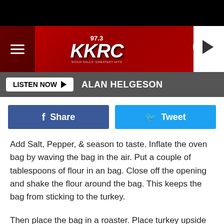[Figure (screenshot): 97.3 KKRC radio station header banner with red circuit board background and logo]
LISTEN NOW  ALAN HELGESON
Share  Tweet
Add Salt, Pepper, & season to taste. Inflate the oven bag by waving the bag in the air. Put a couple of tablespoons of flour in an bag. Close off the opening and shake the flour around the bag. This keeps the bag from sticking to the turkey.
Then place the bag in a roaster. Place turkey upside down in the bag. Fill the turkey with all the ingredients.
Some of the stuff may spill out into the bag, but that's just